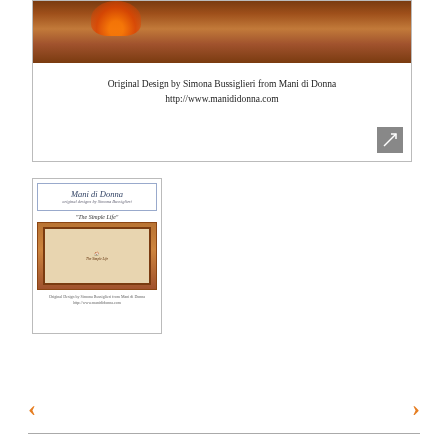[Figure (photo): Cross-stitch pattern cover image showing a wooden background at the top with a white area below. An expand/zoom button is visible in the bottom-right corner of the card border.]
Original Design by Simona Bussiglieri from Mani di Donna
http://www.manididonna.com
[Figure (photo): Thumbnail of a cross-stitch pattern booklet cover for 'The Simple Life' by Mani di Donna, showing the logo at top, title 'The Simple Life', a cross-stitch image of a house scene in a wooden frame, and small credit text at bottom.]
‹
›